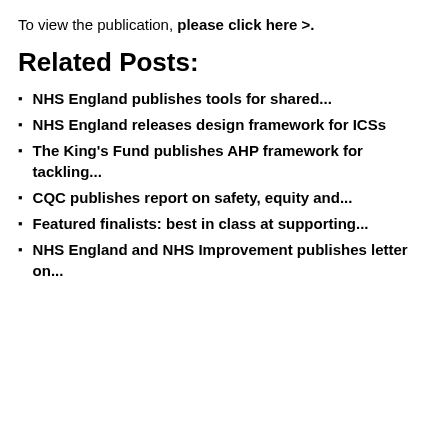To view the publication, please click here >.
Related Posts:
NHS England publishes tools for shared...
NHS England releases design framework for ICSs
The King's Fund publishes AHP framework for tackling...
CQC publishes report on safety, equity and...
Featured finalists: best in class at supporting...
NHS England and NHS Improvement publishes letter on...